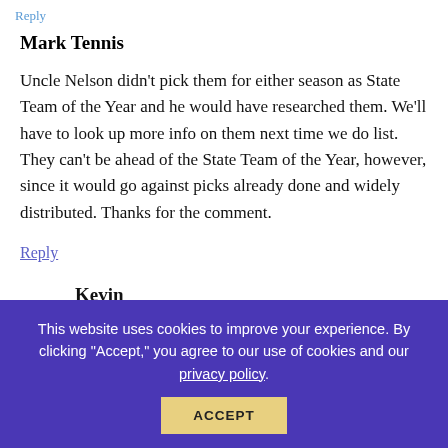Reply
Mark Tennis
Uncle Nelson didn't pick them for either season as State Team of the Year and he would have researched them. We'll have to look up more info on them next time we do list. They can't be ahead of the State Team of the Year, however, since it would go against picks already done and widely distributed. Thanks for the comment.
Reply
Kevin
This website uses cookies to improve your experience. By clicking "Accept," you agree to our use of cookies and our privacy policy.